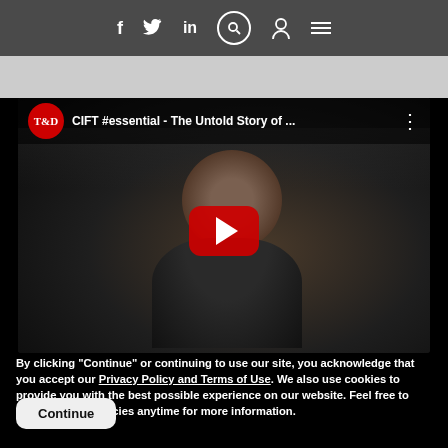Navigation bar with social icons: f, Twitter, in, search, user, menu
[Figure (screenshot): YouTube video embed showing 'CIFT #essential - The Untold Story of ...' with a T&D red circle logo, a person with glasses in the background, and a large red YouTube play button in the center]
By clicking "Continue" or continuing to use our site, you acknowledge that you accept our Privacy Policy and Terms of Use. We also use cookies to provide you with the best possible experience on our website. Feel free to check out our policies anytime for more information.
Continue